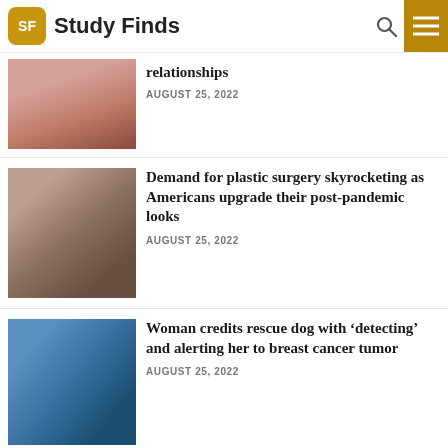Study Finds
relationships
AUGUST 25, 2022
Demand for plastic surgery skyrocketing as Americans upgrade their post-pandemic looks
AUGUST 25, 2022
Woman credits rescue dog with ‘detecting’ and alerting her to breast cancer tumor
AUGUST 25, 2022
Saw palmetto supplement for prostate health: High
[Figure (photo): Close-up of a woman's face with fingers near her mouth]
[Figure (photo): Close-up of a person's face receiving facial treatment or surgery]
[Figure (photo): Woman in blue shirt hugging a large black dog with tongue out]
[Figure (photo): Partial thumbnail image, mostly obscured]